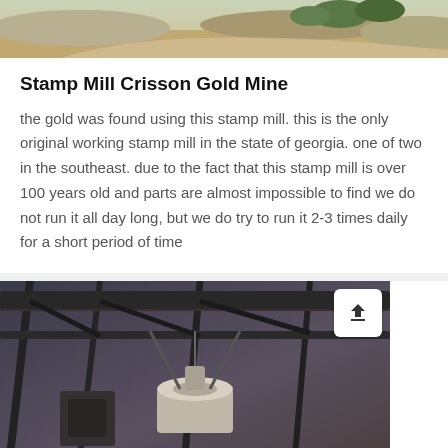[Figure (photo): Aerial or landscape photo of a mine or quarry terrain with rocky/earthy ground and some trees]
Stamp Mill Crisson Gold Mine
the gold was found using this stamp mill. this is the only original working stamp mill in the state of georgia. one of two in the southeast. due to the fact that this stamp mill is over 100 years old and parts are almost impossible to find we do not run it all day long, but we do try to run it 2-3 times daily for a short period of time
[Figure (photo): Close-up photo of industrial stamp mill machinery — metal framework, conveyors, mechanical components]
leave message
Inquiry Online